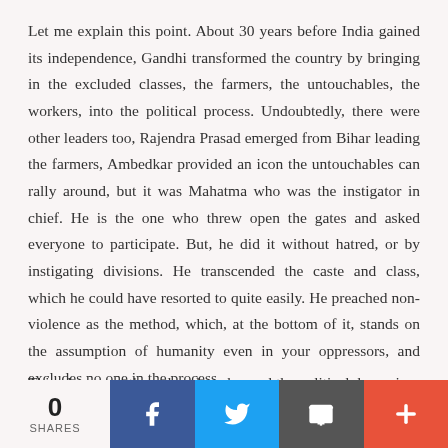Let me explain this point. About 30 years before India gained its independence, Gandhi transformed the country by bringing in the excluded classes, the farmers, the untouchables, the workers, into the political process. Undoubtedly, there were other leaders too, Rajendra Prasad emerged from Bihar leading the farmers, Ambedkar provided an icon the untouchables can rally around, but it was Mahatma who was the instigator in chief. He is the one who threw open the gates and asked everyone to participate. But, he did it without hatred, or by instigating divisions. He transcended the caste and class, which he could have resorted to quite easily. He preached non-violence as the method, which, at the bottom of it, stands on the assumption of humanity even in your oppressors, and excludes no one in the process.
This, done over three decades, changed the political dynamic
0 SHARES | Facebook | Twitter | Email | +